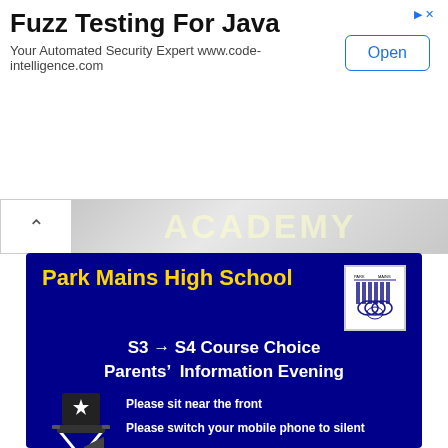[Figure (screenshot): Advertisement banner: Fuzz Testing For Java - Your Automated Security Expert www.code-intelligence.com with Open button]
[Figure (screenshot): Academy watermark text banner with chevron/back button]
[Figure (illustration): Park Mains High School dark blue card with school name, S3 to S4 Course Choice Parents Information Evening, director chair illustration, notices to sit near front and switch mobile to silent, Mr M Dewar Head Teacher and Mr B Gillen Depute Head Teacher]